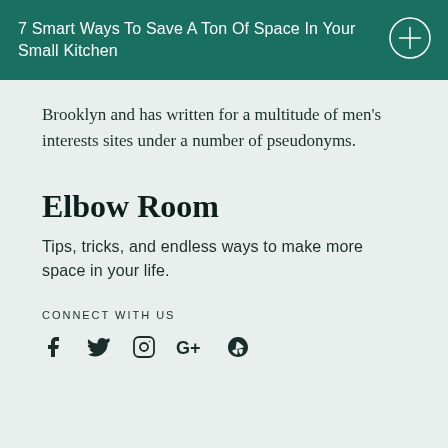7 Smart Ways To Save A Ton Of Space In Your Small Kitchen
Brooklyn and has written for a multitude of men’s interests sites under a number of pseudonyms.
Elbow Room
Tips, tricks, and endless ways to make more space in your life.
CONNECT WITH US
[Figure (illustration): Social media icons: Facebook, Twitter, Instagram, Google+, Yelp]